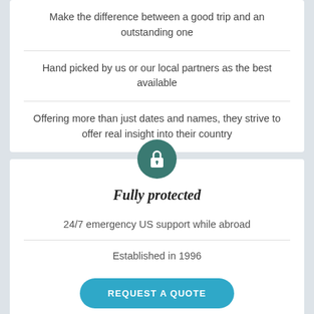Make the difference between a good trip and an outstanding one
Hand picked by us or our local partners as the best available
Offering more than just dates and names, they strive to offer real insight into their country
[Figure (illustration): Lock icon in a dark teal circle]
Fully protected
24/7 emergency US support while abroad
Established in 1996
REQUEST A QUOTE